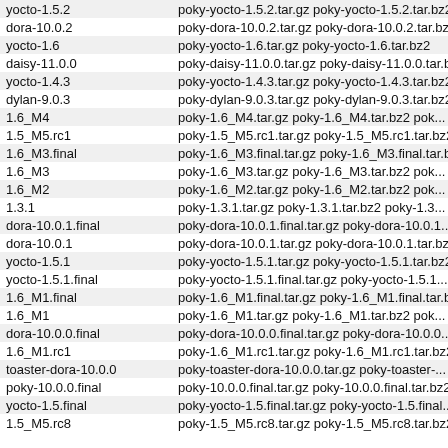| Tag/Version | Files |
| --- | --- |
| yocto-1.5.2 | poky-yocto-1.5.2.tar.gz  poky-yocto-1.5.2.tar.bz2 |
| dora-10.0.2 | poky-dora-10.0.2.tar.gz  poky-dora-10.0.2.tar.bz2 |
| yocto-1.6 | poky-yocto-1.6.tar.gz  poky-yocto-1.6.tar.bz2 |
| daisy-11.0.0 | poky-daisy-11.0.0.tar.gz  poky-daisy-11.0.0.tar.bz2 |
| yocto-1.4.3 | poky-yocto-1.4.3.tar.gz  poky-yocto-1.4.3.tar.bz2 |
| dylan-9.0.3 | poky-dylan-9.0.3.tar.gz  poky-dylan-9.0.3.tar.bz2 |
| 1.6_M4 | poky-1.6_M4.tar.gz  poky-1.6_M4.tar.bz2  pok... |
| 1.5_M5.rc1 | poky-1.5_M5.rc1.tar.gz  poky-1.5_M5.rc1.tar.bz2 |
| 1.6_M3.final | poky-1.6_M3.final.tar.gz  poky-1.6_M3.final.tar.bz2 |
| 1.6_M3 | poky-1.6_M3.tar.gz  poky-1.6_M3.tar.bz2  pok... |
| 1.6_M2 | poky-1.6_M2.tar.gz  poky-1.6_M2.tar.bz2  pok... |
| 1.3.1 | poky-1.3.1.tar.gz  poky-1.3.1.tar.bz2  poky-1.3... |
| dora-10.0.1.final | poky-dora-10.0.1.final.tar.gz  poky-dora-10.0.1... |
| dora-10.0.1 | poky-dora-10.0.1.tar.gz  poky-dora-10.0.1.tar.bz2 |
| yocto-1.5.1 | poky-yocto-1.5.1.tar.gz  poky-yocto-1.5.1.tar.bz2 |
| yocto-1.5.1.final | poky-yocto-1.5.1.final.tar.gz  poky-yocto-1.5.1... |
| 1.6_M1.final | poky-1.6_M1.final.tar.gz  poky-1.6_M1.final.tar.bz2 |
| 1.6_M1 | poky-1.6_M1.tar.gz  poky-1.6_M1.tar.bz2  pok... |
| dora-10.0.0.final | poky-dora-10.0.0.final.tar.gz  poky-dora-10.0.0... |
| 1.6_M1.rc1 | poky-1.6_M1.rc1.tar.gz  poky-1.6_M1.rc1.tar.bz2 |
| toaster-dora-10.0.0 | poky-toaster-dora-10.0.0.tar.gz  poky-toaster-... |
| poky-10.0.0.final | poky-10.0.0.final.tar.gz  poky-10.0.0.final.tar.bz2 |
| yocto-1.5.final | poky-yocto-1.5.final.tar.gz  poky-yocto-1.5.final... |
| 1.5_M5.rc8 | poky-1.5_M5.rc8.tar.gz  poky-1.5_M5.rc8.tar.bz2 |